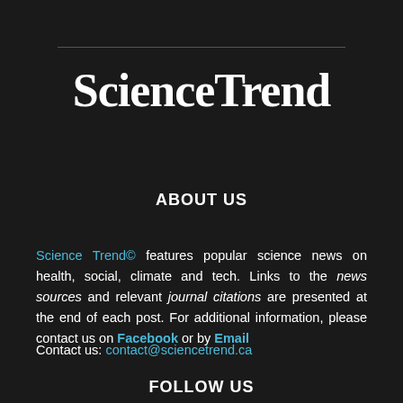[Figure (logo): ScienceTrend logo in large white serif bold font on dark background]
ABOUT US
Science Trend© features popular science news on health, social, climate and tech. Links to the news sources and relevant journal citations are presented at the end of each post. For additional information, please contact us on Facebook or by Email
Contact us: contact@sciencetrend.ca
FOLLOW US